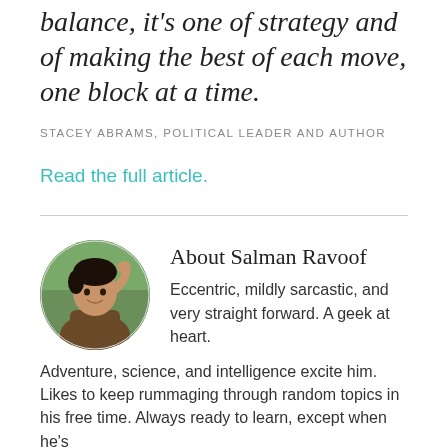balance, it's one of strategy and of making the best of each move, one block at a time.
STACEY ABRAMS, POLITICAL LEADER AND AUTHOR
Read the full article.
[Figure (photo): Circular portrait photo of Salman Ravoof, a young man with dark hair touching his head, wearing a brown shirt, outdoors with green background.]
About Salman Ravoof
Eccentric, mildly sarcastic, and very straight forward. A geek at heart. Adventure, science, and intelligence excite him. Likes to keep rummaging through random topics in his free time. Always ready to learn, except when he's sleeping. He hopes to someday write the world's greatest sci-fi novel.